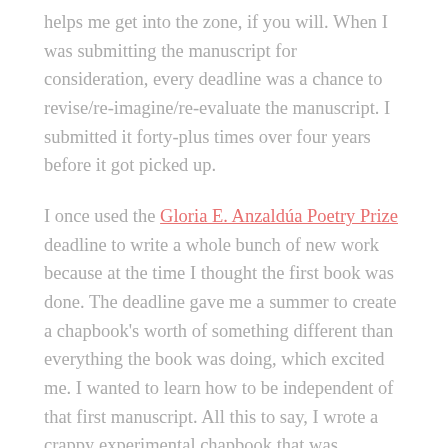helps me get into the zone, if you will. When I was submitting the manuscript for consideration, every deadline was a chance to revise/re-imagine/re-evaluate the manuscript. I submitted it forty-plus times over four years before it got picked up.
I once used the Gloria E. Anzaldúa Poetry Prize deadline to write a whole bunch of new work because at the time I thought the first book was done. The deadline gave me a summer to create a chapbook's worth of something different than everything the book was doing, which excited me. I wanted to learn how to be independent of that first manuscript. All this to say, I wrote a crappy experimental chapbook that was ultimately rejected. Over the next year, though, I took those